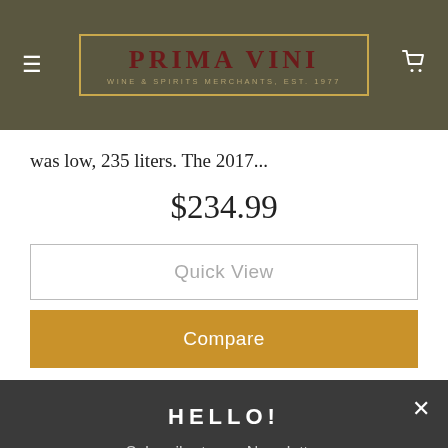PRIMA VINI — WINE & SPIRITS MERCHANTS, EST. 1977
was low, 235 liters. The 2017...
$234.99
Quick View
Compare
HELLO!
Subscribe to our Newsletter
Email
SUBMIT